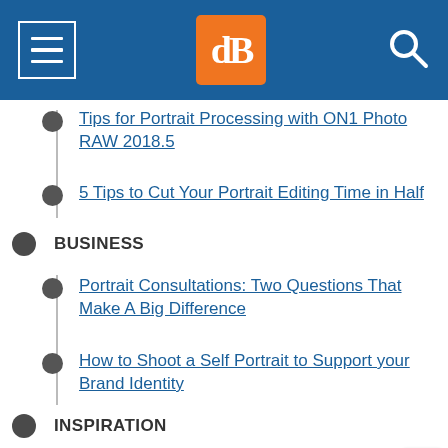[Figure (screenshot): Website navigation header bar with hamburger menu icon (left), dPS orange logo (center), and search icon (right) on dark blue background]
Tips for Portrait Processing with ON1 Photo RAW 2018.5
5 Tips to Cut Your Portrait Editing Time in Half
BUSINESS
Portrait Consultations: Two Questions That Make A Big Difference
How to Shoot a Self Portrait to Support your Brand Identity
INSPIRATION
5 Examples of Beautiful Simple Portraits